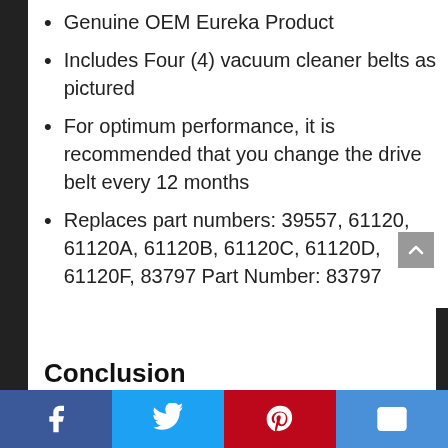Genuine OEM Eureka Product
Includes Four (4) vacuum cleaner belts as pictured
For optimum performance, it is recommended that you change the drive belt every 12 months
Replaces part numbers: 39557, 61120, 61120A, 61120B, 61120C, 61120D, 61120F, 83797 Part Number: 83797
Conclusion